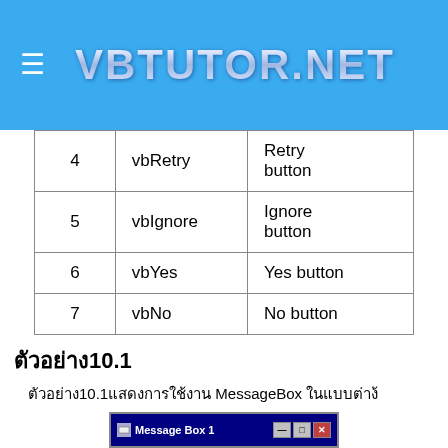VBTUTOR.NET
| 4 | vbRetry | Retry button |
| 5 | vbIgnore | Ignore button |
| 6 | vbYes | Yes button |
| 7 | vbNo | No button |
ตัวอย่าง 10.1
ตัวอย่าง 10.1 แสดงการใช้งาน MessageBox ในแบบต่างๆ
[Figure (screenshot): Message Box 1 dialog window screenshot with Windows title bar]